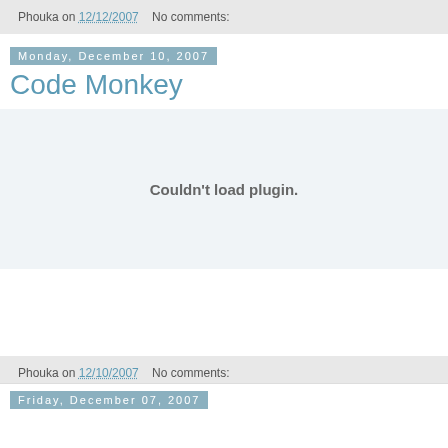Phouka on 12/12/2007    No comments:
Monday, December 10, 2007
Code Monkey
Couldn't load plugin.
Phouka on 12/10/2007    No comments:
Friday, December 07, 2007